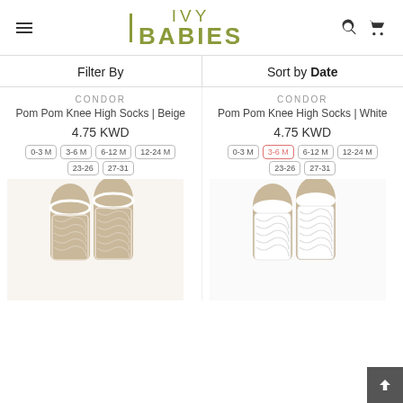IVY BABIES
Filter By
Sort by Date
CONDOR
Pom Pom Knee High Socks | Beige
4.75 KWD
0-3 M, 3-6 M, 6-12 M, 12-24 M, 23-26, 27-31
CONDOR
Pom Pom Knee High Socks | White
4.75 KWD
0-3 M, 3-6 M, 6-12 M, 12-24 M, 23-26, 27-31
[Figure (photo): Beige crochet knee high socks displayed on mannequin legs]
[Figure (photo): White crochet knee high socks displayed on mannequin legs]